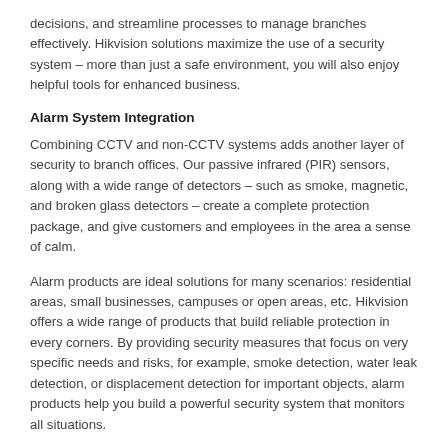decisions, and streamline processes to manage branches effectively. Hikvision solutions maximize the use of a security system – more than just a safe environment, you will also enjoy helpful tools for enhanced business.
Alarm System Integration
Combining CCTV and non-CCTV systems adds another layer of security to branch offices. Our passive infrared (PIR) sensors, along with a wide range of detectors – such as smoke, magnetic, and broken glass detectors – create a complete protection package, and give customers and employees in the area a sense of calm.
Alarm products are ideal solutions for many scenarios: residential areas, small businesses, campuses or open areas, etc. Hikvision offers a wide range of products that build reliable protection in every corners. By providing security measures that focus on very specific needs and risks, for example, smoke detection, water leak detection, or displacement detection for important objects, alarm products help you build a powerful security system that monitors all situations.
For home users, you may choose from our wired or wireless alarm system based on the available infrastructures and budget. Then complete your system with a variety of detectors and accessories to cater for any setting or need for home use.